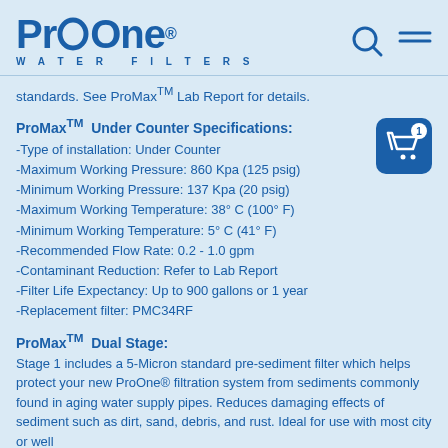ProOne WATER FILTERS
standards. See ProMax™ Lab Report for details.
ProMax™ Under Counter Specifications:
-Type of installation: Under Counter
-Maximum Working Pressure: 860 Kpa (125 psig)
-Minimum Working Pressure: 137 Kpa (20 psig)
-Maximum Working Temperature: 38° C (100° F)
-Minimum Working Temperature: 5° C (41° F)
-Recommended Flow Rate: 0.2 - 1.0 gpm
-Contaminant Reduction: Refer to Lab Report
-Filter Life Expectancy: Up to 900 gallons or 1 year
-Replacement filter: PMC34RF
ProMax™ Dual Stage:
Stage 1 includes a 5-Micron standard pre-sediment filter which helps protect your new ProOne® filtration system from sediments commonly found in aging water supply pipes. Reduces damaging effects of sediment such as dirt, sand, debris, and rust. Ideal for use with most city or well